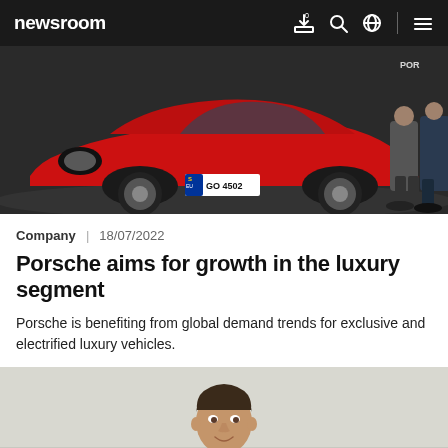newsroom
[Figure (photo): Red Porsche 911 sports car with license plate S-GO 4502, two people standing behind it in a studio setting with Porsche branding visible]
Company | 18/07/2022
Porsche aims for growth in the luxury segment
Porsche is benefiting from global demand trends for exclusive and electrified luxury vehicles.
[Figure (photo): Close-up portrait of a man with short dark hair, smiling slightly, against a light grey background]